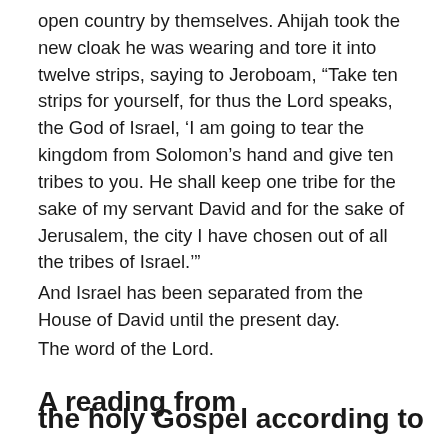open country by themselves. Ahijah took the new cloak he was wearing and tore it into twelve strips, saying to Jeroboam, “Take ten strips for yourself, for thus the Lord speaks, the God of Israel, ‘I am going to tear the kingdom from Solomon’s hand and give ten tribes to you. He shall keep one tribe for the sake of my servant David and for the sake of Jerusalem, the city I have chosen out of all the tribes of Israel.’”
And Israel has been separated from the House of David until the present day.
The word of the Lord.
A reading from
the holy Gospel according to